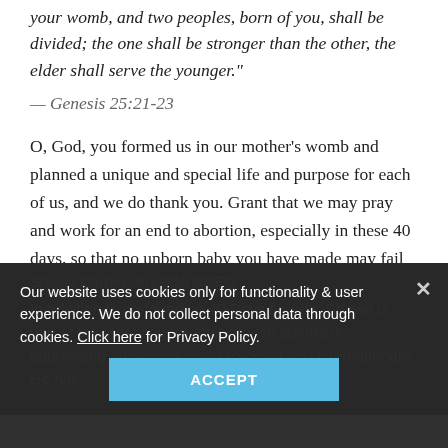your womb, and two peoples, born of you, shall be divided; the one shall be stronger than the other, the elder shall serve the younger."
— Genesis 25:21-23
O, God, you formed us in our mother's womb and planned a unique and special life and purpose for each of us, and we do thank you. Grant that we may pray and work for an end to abortion, especially in these 40 days, so that no unborn baby you have made may fail to achieve your divine intention for him or her because of intentional abortion.
See today's full devotional
Our website uses cookies only for functionality & user experience. We do not collect personal data through cookies. Click here for Privacy Policy.
ACCEPT
Shawn Carney, President/CEO
In addition to co-founding 40 Days for Life, Shawn is one of the most sought... assing audiences coast-to-coast and internationally. He has